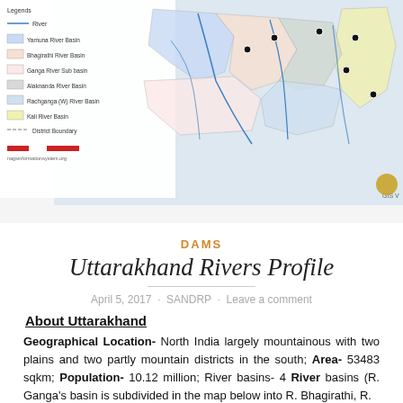[Figure (map): Map of Uttarakhand river basins including Yamuna River Basin, Bhagirathi River Basin, Ganga River Sub basin, Alaknanda River Basin, Rachganga (W) River Basin, Kali River Basin, with District Boundary markings and scale bar. Source: nagsinformationsystem.org]
DAMS
Uttarakhand Rivers Profile
April 5, 2017  ·  SANDRP  ·  Leave a comment
About Uttarakhand
Geographical Location- North India largely mountainous with two plains and two partly mountain districts in the south; Area- 53483 sqkm; Population- 10.12 million; River basins- 4 River basins (R. Ganga's basin is subdivided in the map below into R. Bhagirathi, R.